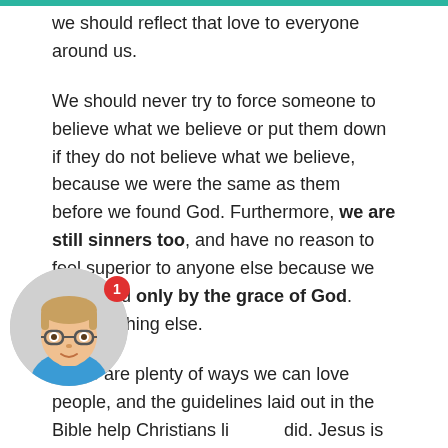we should reflect that love to everyone around us.
We should never try to force someone to believe what we believe or put them down if they do not believe what we believe, because we were the same as them before we found God. Furthermore, we are still sinners too, and have no reason to feel superior to anyone else because we are saved only by the grace of God. Only. Nothing else.
There are plenty of ways we can love people, and the guidelines laid out in the Bible help Christians live as Jesus did. Jesus is the example that we should follow because He is perfect. We'll never actually be perfect, but as believers, we continue to shoot for perfection (or at least toward
[Figure (illustration): Cartoon avatar of a young man with glasses and brown hair wearing a blue shirt, displayed in a circular frame. A red notification badge with the number 1 appears in the upper right of the avatar.]